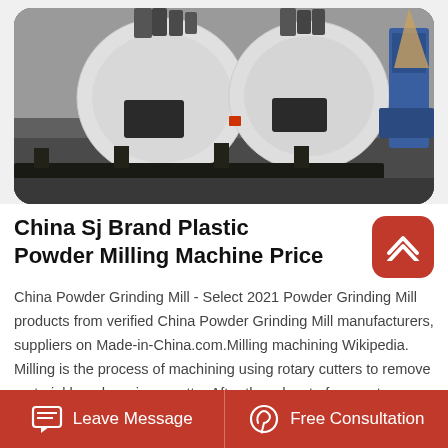[Figure (photo): Industrial plastic powder milling machines — large white circular disc mills on metal stands inside a factory, with a blue machine visible at the right edge.]
China Sj Brand Plastic Powder Milling Machine Price
China Powder Grinding Mill - Select 2021 Powder Grinding Mill products from verified China Powder Grinding Mill manufacturers, suppliers on Made-in-China.com.Milling machining Wikipedia. Milling is the process of machining using rotary cutters to remove material by advancing a cutter After the advent of computer numerical control CNC milling machines In
Leave Message   Free Consultation